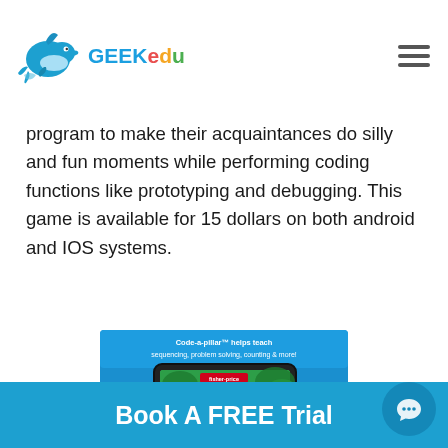GEEKedu
program to make their acquaintances do silly and fun moments while performing coding functions like prototyping and debugging. This game is available for 15 dollars on both android and IOS systems.
[Figure (screenshot): Code-a-pillar app screenshot showing a tablet with cartoon caterpillar characters on a jungle background. Text reads: Code-a-pillar helps teach sequencing, problem solving, counting & more!]
3. Think and Learn Code-a-pillar
Book A FREE Trial